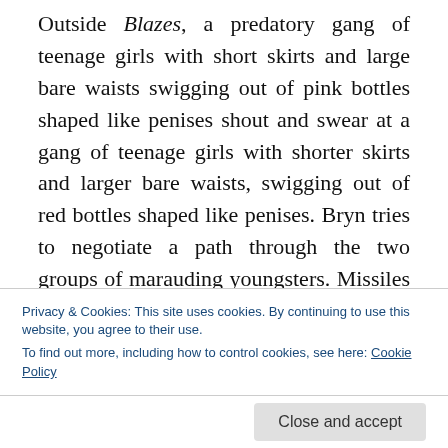Outside Blazes, a predatory gang of teenage girls with short skirts and large bare waists swigging out of pink bottles shaped like penises shout and swear at a gang of teenage girls with shorter skirts and larger bare waists, swigging out of red bottles shaped like penises. Bryn tries to negotiate a path through the two groups of marauding youngsters. Missiles fly through the air as the two gangs meet. We are caught in the crossfire and a pink penis narrowly misses the windscreen of the cab. The
Privacy & Cookies: This site uses cookies. By continuing to use this website, you agree to their use. To find out more, including how to control cookies, see here: Cookie Policy
Close and accept
all over the cab. The girls scream madly, baseball